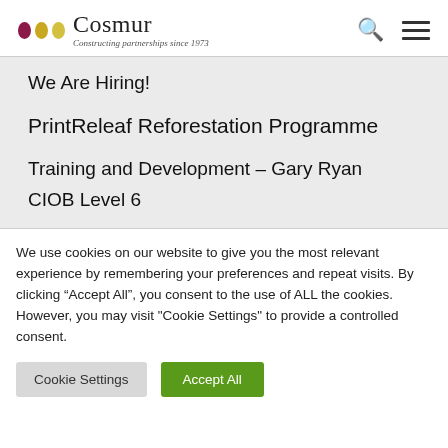Cosmur — Constructing partnerships since 1973
We Are Hiring!
PrintReleaf Reforestation Programme
Training and Development – Gary Ryan
CIOB Level 6
We use cookies on our website to give you the most relevant experience by remembering your preferences and repeat visits. By clicking "Accept All", you consent to the use of ALL the cookies. However, you may visit "Cookie Settings" to provide a controlled consent.